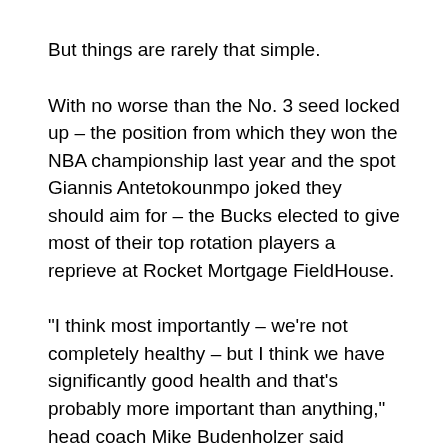But things are rarely that simple.
With no worse than the No. 3 seed locked up – the position from which they won the NBA championship last year and the spot Giannis Antetokounmpo joked they should aim for – the Bucks elected to give most of their top rotation players a reprieve at Rocket Mortgage FieldHouse.
“I think most importantly – we’re not completely healthy – but I think we have significantly good health and that’s probably more important than anything,” head coach Mike Budenholzer said before the game. “Feel good about being (the) two or three (seed).”
So with Cleveland still fighting for play-in positioning